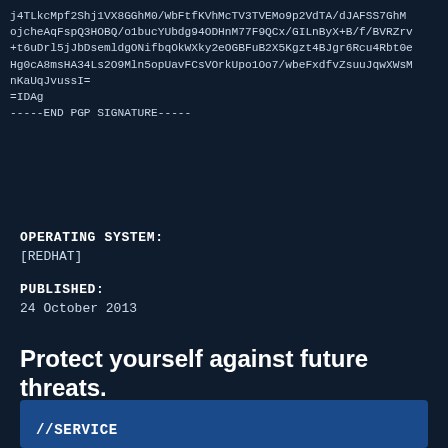j4TLkcMpf2Shj1VX8GGhM0/WbFtfKVhMcTV3TVEMo9p2VdTA/dJAFSS7GhMojcheAqFspQ3HOBQ/o1bucYUbdg94ODHnM77F9QCx/GILnByX+B/f/BVRZrv+t6uDrl5jJbDsemldgONifbqOkWXky2eOGBFuB2X5Kgzt4BJgr6Rcu4Rbt0eHg0cA8msHA34Ls2O9Mln5opUavFCsVOrkUpo1Oo7/wbeFxdfvZsuuJqwXWsMnKaUqJvussI=
=IDAg
-----END PGP SIGNATURE-----
OPERATING SYSTEM:
[REDHAT]
PUBLISHED:
24 October 2013
Protect yourself against future threats.
[Figure (illustration): Blue service box with a fishing hook icon inside a browser/window frame icon, and the label //SERVICE below it]